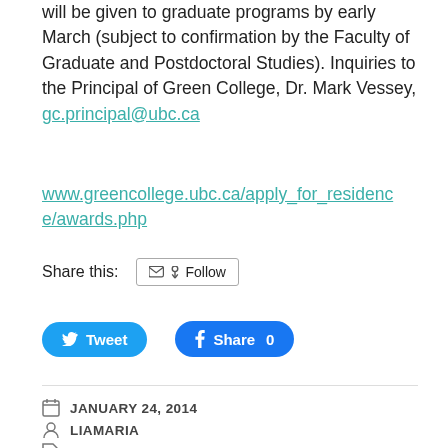will be given to graduate programs by early March (subject to confirmation by the Faculty of Graduate and Postdoctoral Studies). Inquiries to the Principal of Green College, Dr. Mark Vessey, gc.principal@ubc.ca
www.greencollege.ubc.ca/apply_for_residence/awards.php
Share this: [Follow button] [Tweet button] [Share 0 button]
JANUARY 24, 2014
LIAMARIA
FELLOWSHIP, FUNDING, PHD